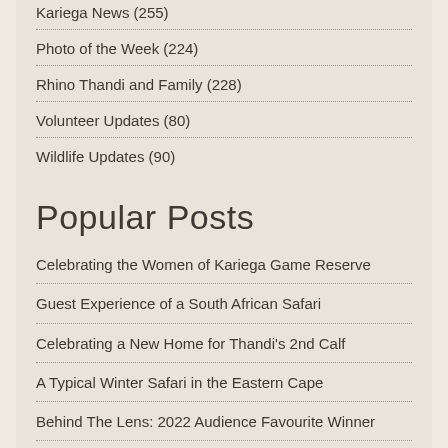Kariega News (255)
Photo of the Week (224)
Rhino Thandi and Family (228)
Volunteer Updates (80)
Wildlife Updates (90)
Popular Posts
Celebrating the Women of Kariega Game Reserve
Guest Experience of a South African Safari
Celebrating a New Home for Thandi's 2nd Calf
A Typical Winter Safari in the Eastern Cape
Behind The Lens: 2022 Audience Favourite Winner
Creating Opportunities for Youth | Kariega